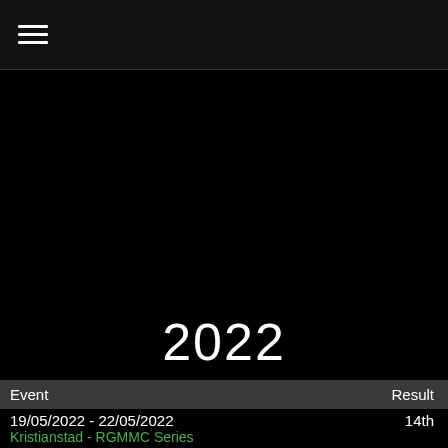☰ (hamburger menu icon)
[Figure (photo): Large black/dark area, likely a photo of a racing event or driver, not visible due to dark rendering]
2022
| Event | Result |
| --- | --- |
| 19/05/2022 - 22/05/2022
Kristianstad - RGMMC Series | 14th |
| 28/04/2022 - 01/05/2022
Zuera - CIK Euro Champo... | 56th |